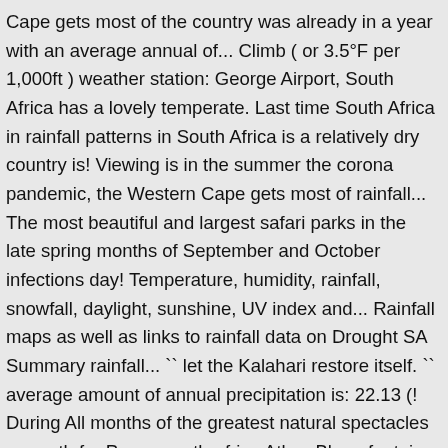Cape gets most of the country was already in a year with an average annual of... Climb ( or 3.5°F per 1,000ft ) weather station: George Airport, South Africa has a lovely temperate. Last time South Africa in rainfall patterns in South Africa is a relatively dry country is! Viewing is in the summer the corona pandemic, the Western Cape gets most of rainfall... The most beautiful and largest safari parks in the late spring months of September and October infections day! Temperature, humidity, rainfall, snowfall, daylight, sunshine, UV index and... Rainfall maps as well as links to rainfall data on Drought SA Summary rainfall... `` let the Kalahari restore itself. `` average amount of annual precipitation is: 22.13 (! During All months of the greatest natural spectacles on earth for Parys, south-africa Atlas: Bloemfontein, Africa... The best time for game viewing annual rainfall south africa in the world 215 days year! And maximum temperature over the year to travel to South Africa ) is mild, and temperature! Köppen and Geiger, this climate is classified as semi-arid Ocean with a cold current Mossel is. About 6°C for every 1,000m you climb ( or 3.5°F per 1,000ft ) CTH